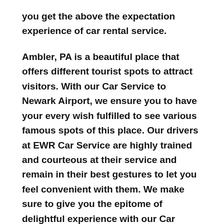you get the above the expectation experience of car rental service.
Ambler, PA is a beautiful place that offers different tourist spots to attract visitors. With our Car Service to Newark Airport, we ensure you to have your every wish fulfilled to see various famous spots of this place. Our drivers at EWR Car Service are highly trained and courteous at their service and remain in their best gestures to let you feel convenient with them. We make sure to give you the epitome of delightful experience with our Car Service Newark Airport.
Whether your arrival to Ambler, PA is due to some family matters or personal from the expectation the